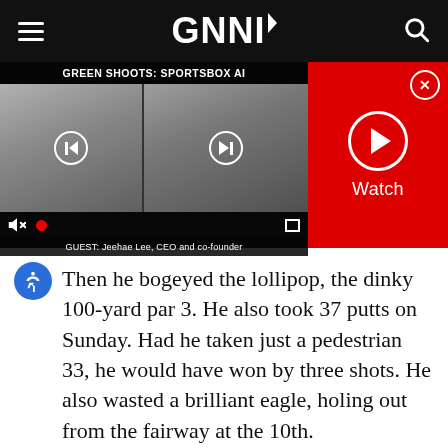GNNI (navigation bar with hamburger menu and search icon)
[Figure (screenshot): Video player showing GREEN SHOOTS: SPORTSBOX AI with two speakers, controls, and a Watch panel on the right. Caption: GUEST: Jeehae Lee, CEO and co-founder]
Then he bogeyed the lollipop, the dinky 100-yard par 3. He also took 37 putts on Sunday. Had he taken just a pedestrian 33, he would have won by three shots. He also wasted a brilliant eagle, holing out from the fairway at the 10th.
“My career is built on failure because how you handle failure is a huge